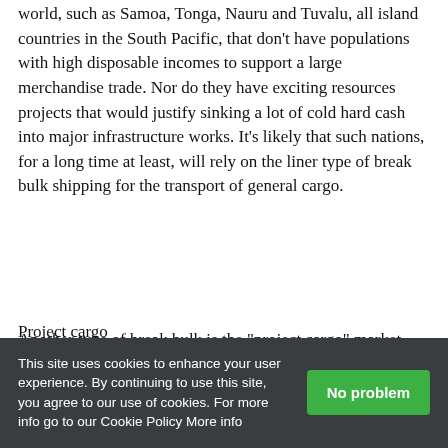world, such as Samoa, Tonga, Nauru and Tuvalu, all island countries in the South Pacific, that don't have populations with high disposable incomes to support a large merchandise trade. Nor do they have exciting resources projects that would justify sinking a lot of cold hard cash into major infrastructure works. It's likely that such nations, for a long time at least, will rely on the liner type of break bulk shipping for the transport of general cargo.
Project cargo
Another type of break bulk is the "project cargo" market. Operators in this market handle large, oddly shaped and
This site uses cookies to enhance your user experience. By continuing to use this site, you agree to our use of cookies. For more info go to our Cookie Policy More info